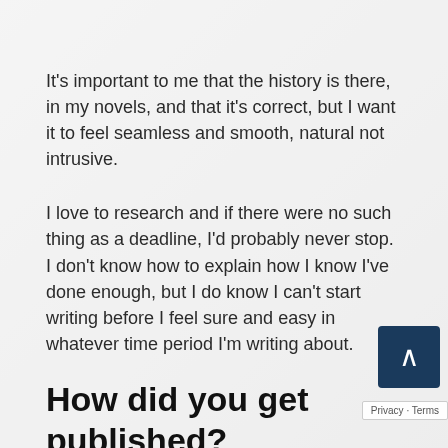It's important to me that the history is there, in my novels, and that it's correct, but I want it to feel seamless and smooth, natural not intrusive.
I love to research and if there were no such thing as a deadline, I'd probably never stop. I don't know how to explain how I know I've done enough, but I do know I can't start writing before I feel sure and easy in whatever time period I'm writing about.
How did you get published?
It took me a long time to get my first book published. There were many days when I thought it would never happen.
I worked on my first novel, The Tea Rose, for ten years. I